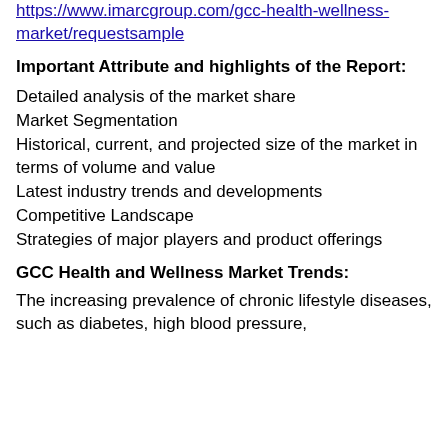https://www.imarcgroup.com/gcc-health-wellness-market/requestsample
Important Attribute and highlights of the Report:
Detailed analysis of the market share
Market Segmentation
Historical, current, and projected size of the market in terms of volume and value
Latest industry trends and developments
Competitive Landscape
Strategies of major players and product offerings
GCC Health and Wellness Market Trends:
The increasing prevalence of chronic lifestyle diseases, such as diabetes, high blood pressure,